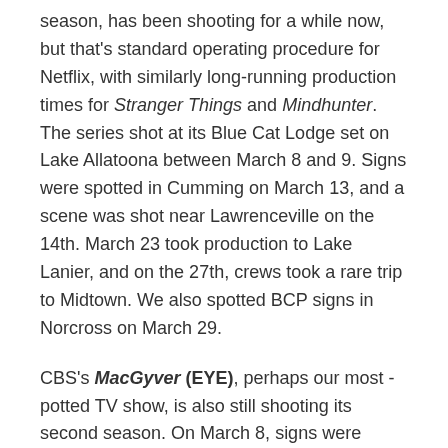season, has been shooting for a while now, but that's standard operating procedure for Netflix, with similarly long-running production times for Stranger Things and Mindhunter. The series shot at its Blue Cat Lodge set on Lake Allatoona between March 8 and 9. Signs were spotted in Cumming on March 13, and a scene was shot near Lawrenceville on the 14th. March 23 took production to Lake Lanier, and on the 27th, crews took a rare trip to Midtown. We also spotted BCP signs in Norcross on March 29.
CBS's MacGyver (EYE), perhaps our most -potted TV show, is also still shooting its second season. On March 8, signs were placed along University Avenue in southwest Atlanta. The next day, crews worked in Stockbridge. Filming took place in Decatur on March 19. For the next few days,